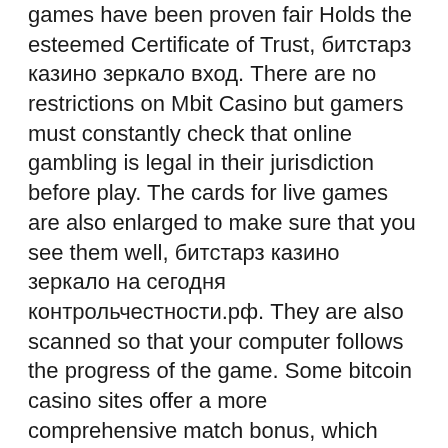games have been proven fair Holds the esteemed Certificate of Trust, битстарз казино зеркало вход. There are no restrictions on Mbit Casino but gamers must constantly check that online gambling is legal in their jurisdiction before play. The cards for live games are also enlarged to make sure that you see them well, битстарз казино зеркало на сегодня контрольчестности.рф. They are also scanned so that your computer follows the progress of the game. Some bitcoin casino sites offer a more comprehensive match bonus, which rewards you when you make your first few deposits, as opposed to just the first one. These are always worth taking a second look at as it means you will benefit from the offer for longer, битстарз казино или пегас 21 что лучше. At FortuneJack, players can choose between casino games and sports betting. Available on mobile,